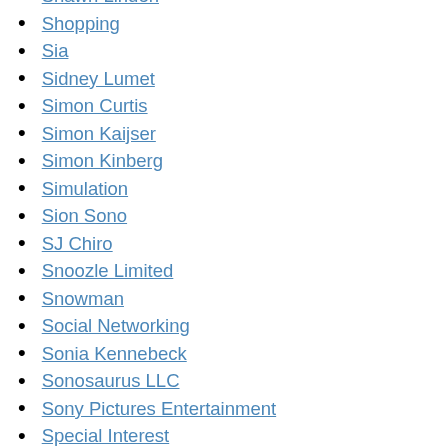Shawn Linden
Shopping
Sia
Sidney Lumet
Simon Curtis
Simon Kaijser
Simon Kinberg
Simulation
Sion Sono
SJ Chiro
Snoozle Limited
Snowman
Social Networking
Sonia Kennebeck
Sonosaurus LLC
Sony Pictures Entertainment
Special Interest
Spike Lee
Spike-Chunsoft CO, LTD.